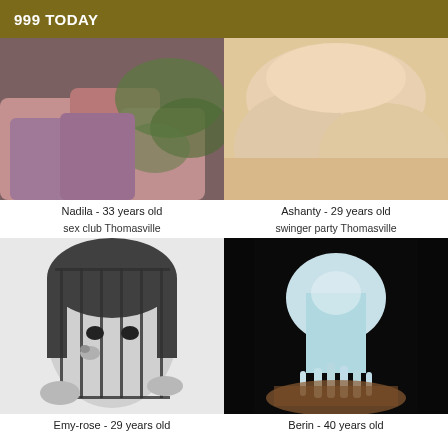999 TODAY
[Figure (photo): Close-up photo of female legs outdoors with green foliage background]
[Figure (photo): Close-up photo of a nude torso, skin tones on beige background]
Nadila - 33 years old
Ashanty - 29 years old
sex club Thomasville
swinger party Thomasville
[Figure (photo): Black and white photo of a woman with a birdcage over her head and a bird perching near her mouth]
[Figure (photo): Photo of a water fountain or ice sculpture with blue-white tones]
Emy-rose - 29 years old
Berin - 40 years old